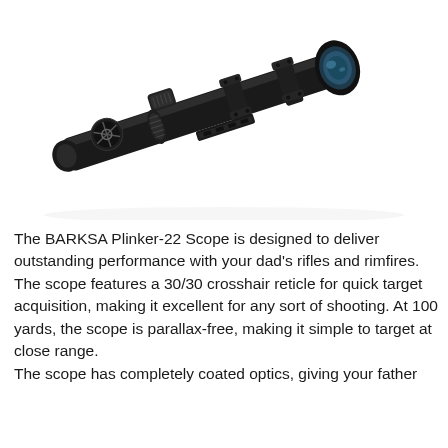[Figure (photo): A black rifle scope (BARKSA Plinker-22) shown diagonally from lower-left to upper-right against a white background. The scope has mount rings, an adjustable objective lens on the left side, a rail mount at the bottom center, and a large blue-tinted objective lens on the right end.]
The BARKSA Plinker-22 Scope is designed to deliver outstanding performance with your dad's rifles and rimfires. The scope features a 30/30 crosshair reticle for quick target acquisition, making it excellent for any sort of shooting. At 100 yards, the scope is parallax-free, making it simple to target at close range.
The scope has completely coated optics, giving your father